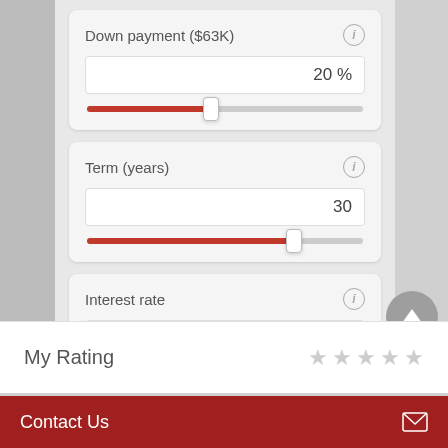[Figure (screenshot): Down payment slider UI: label 'Down payment ($63K)' with info icon, value box showing '20 %', and a red slider positioned at ~45% from left]
[Figure (screenshot): Term (years) slider UI: label 'Term (years)' with info icon, value box showing '30', and a red slider positioned at ~75% from left]
[Figure (screenshot): Interest rate slider UI: label 'Interest rate' with info icon, value box showing '4.000 %', slider partially visible]
My Rating
Contact Us